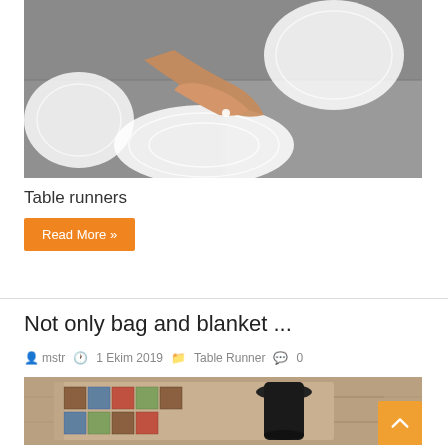[Figure (photo): Person's hands arranging white lace doilies on a grey surface, top-down view showing multiple crocheted doilies of various sizes]
Table runners
Read More »
Not only bag and blanket ...
mstr   1 Ekim 2019   Table Runner   0
[Figure (photo): Close-up of a patchwork quilted table runner with colorful square patterns on a wooden table, with a dark vase in the background]